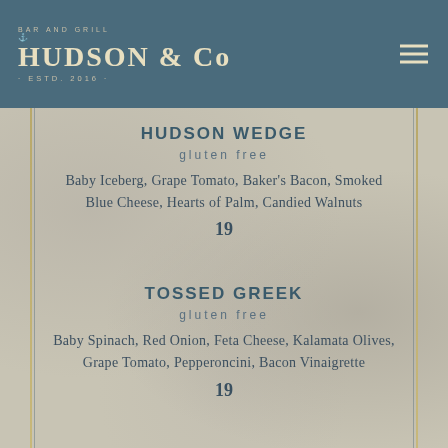BAR AND GRILL HUDSON & Co • ESTD. 2016 •
HUDSON WEDGE
gluten free
Baby Iceberg, Grape Tomato, Baker's Bacon, Smoked Blue Cheese, Hearts of Palm, Candied Walnuts
19
TOSSED GREEK
gluten free
Baby Spinach, Red Onion, Feta Cheese, Kalamata Olives, Grape Tomato, Pepperoncini, Bacon Vinaigrette
19